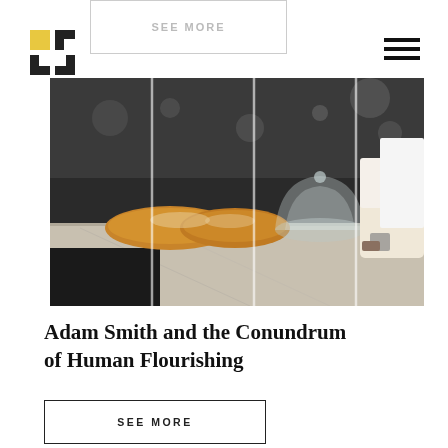[Figure (logo): Four-square logo mark with two filled yellow/gold squares and two outlined black squares arranged in a 2x2 grid]
[Figure (other): Hamburger menu icon (three horizontal black lines) in top-right corner]
[Figure (other): Ghost card with faded SEE MORE text and border, partially visible at top]
[Figure (photo): Restaurant or bakery scene: a chef working at a marble counter with bread loaves and a glass cloche dome, dark kitchen background, dramatic lighting, split by vertical panels]
Adam Smith and the Conundrum of Human Flourishing
SEE MORE